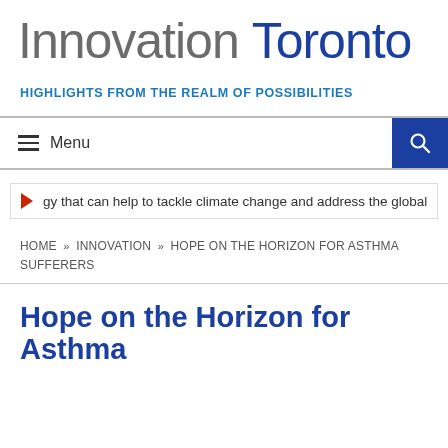Innovation Toronto
HIGHLIGHTS FROM THE REALM OF POSSIBILITIES
Menu
gy that can help to tackle climate change and address the global en
HOME » INNOVATION » HOPE ON THE HORIZON FOR ASTHMA SUFFERERS
Hope on the Horizon for Asthma